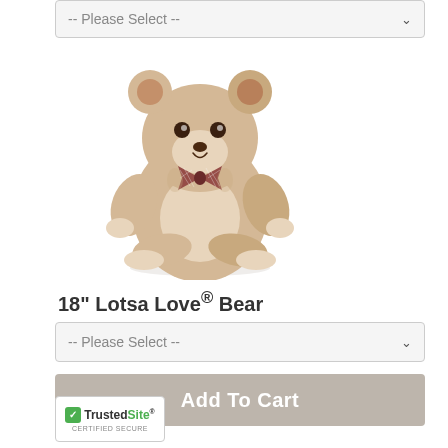[Figure (screenshot): Dropdown selector at top showing '-- Please Select --' with chevron]
[Figure (photo): 18 inch Lotsa Love teddy bear product photo - beige/tan stuffed bear with plaid bow tie, sitting upright]
18" Lotsa Love® Bear
[Figure (screenshot): Dropdown selector showing '-- Please Select --' with chevron]
[Figure (screenshot): Add To Cart button]
[Figure (logo): TrustedSite CERTIFIED SECURE badge with green checkmark]